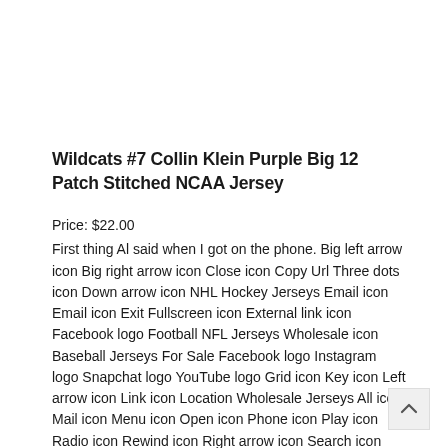Wildcats #7 Collin Klein Purple Big 12 Patch Stitched NCAA Jersey
Price: $22.00
First thing Al said when I got on the phone. Big left arrow icon Big right arrow icon Close icon Copy Url Three dots icon Down arrow icon NHL Hockey Jerseys Email icon Email icon Exit Fullscreen icon External link icon Facebook logo Football NFL Jerseys Wholesale icon Baseball Jerseys For Sale Facebook logo Instagram logo Snapchat logo YouTube logo Grid icon Key icon Left arrow icon Link icon Location Wholesale Jerseys All icon Mail icon Menu icon Open icon Phone icon Play icon Radio icon Rewind icon Right arrow icon Search icon Select icon Selected icon TV icon Twitter logo Twitter Wholesale Jerseys All logo Up arrow icon User icon Audio icon Tickets iconAdd Cheap San Francisco 49ers Jerseys to calendar